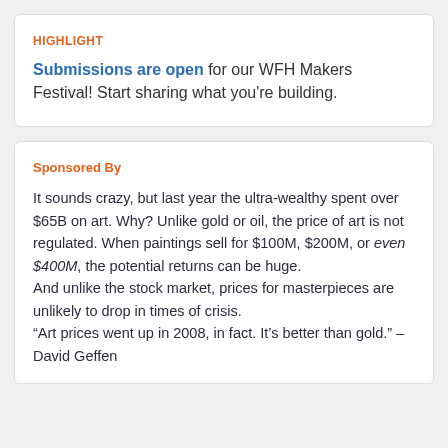HIGHLIGHT
Submissions are open for our WFH Makers Festival! Start sharing what you're building.
Sponsored By
It sounds crazy, but last year the ultra-wealthy spent over $65B on art. Why? Unlike gold or oil, the price of art is not regulated. When paintings sell for $100M, $200M, or even $400M, the potential returns can be huge.
And unlike the stock market, prices for masterpieces are unlikely to drop in times of crisis.
“Art prices went up in 2008, in fact. It’s better than gold.” – David Geffen